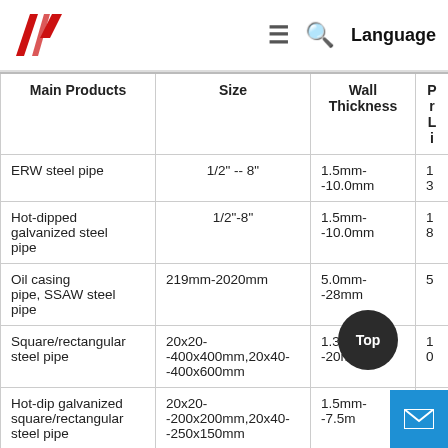Logo / Navigation bar with hamburger menu, search icon, Language
| Main Products | Size | Wall Thickness | Pr Li |
| --- | --- | --- | --- |
| ERW steel pipe | 1/2" -- 8" | 1.5mm--10.0mm | 13 |
| Hot-dipped galvanized steel pipe | 1/2"-8" | 1.5mm--10.0mm | 18 |
| Oil casing pipe, SSAW steel pipe | 219mm-2020mm | 5.0mm--28mm | 5 |
| Square/rectangular steel pipe | 20x20--400x400mm,20x40--400x600mm | 1.3mm--20mm | 10 |
| Hot-dip galvanized square/rectangular steel pipe | 20x20--200x200mm,20x40--250x150mm | 1.5mm--7.5mm | 3 |
| Steel-plastic |  | 1.5mm- |  |